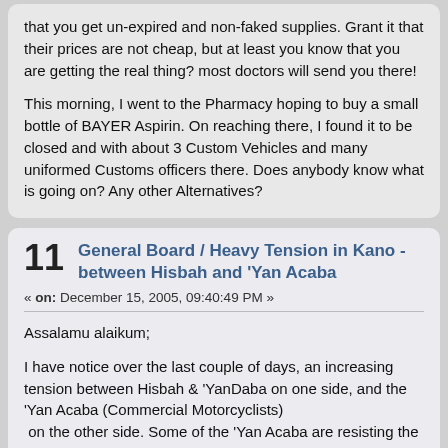that you get un-expired and non-faked supplies. Grant it that their prices are not cheap, but at least you know that you are getting the real thing? most doctors will send you there!
This morning, I went to the Pharmacy hoping to buy a small bottle of BAYER Aspirin. On reaching there, I found it to be closed and with about 3 Custom Vehicles and many uniformed Customs officers there. Does anybody know what is going on? Any other Alternatives?
11  General Board / Heavy Tension in Kano - between Hisbah and 'Yan Acaba
« on: December 15, 2005, 09:40:49 PM »
Assalamu alaikum;
I have notice over the last couple of days, an increasing tension between Hisbah & 'YanDaba on one side, and the 'Yan Acaba (Commercial Motorcyclists)
 on the other side. Some of the 'Yan Acaba are resisting the enforcement of a ban on conveyance of female on motorcycles which started last Monday...
I am however supprised as the apparent "cooperation" between the Hisbah and the 'Yan Daba in this case...